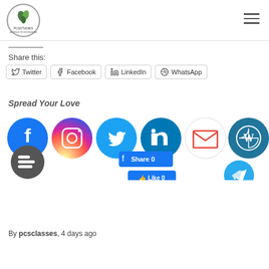PCSSTUDIES logo and navigation hamburger menu
Share this:
Twitter  Facebook  LinkedIn  WhatsApp
Spread Your Love
[Figure (infographic): Social media icons row: Facebook, Instagram, Twitter, LinkedIn, Gmail, WordPress, Blogger; Facebook Share 0 button; Facebook Like 0 button; Telegram icon]
By pcsclasses, 4 days ago